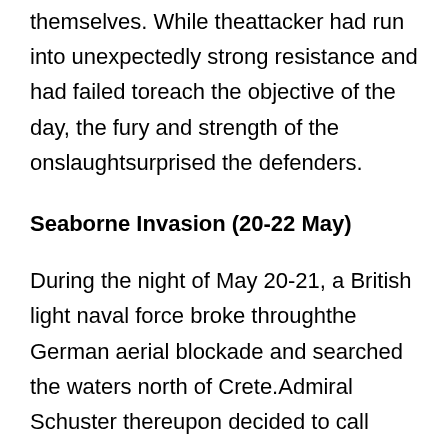themselves. While theattacker had run into unexpectedly strong resistance and had failed toreach the objective of the day, the fury and strength of the onslaughtsurprised the defenders.
Seaborne Invasion (20-22 May)
During the night of May 20-21, a British light naval force broke throughthe German aerial blockade and searched the waters north of Crete.Admiral Schuster thereupon decided to call back to Milos the first naval convoy, which was approaching Crete under escort of an Italian destroyer.At dawn on May 21, German planes sighted the British ships and subjectedthem to heavy air attacks. One destroyer was sunk and two